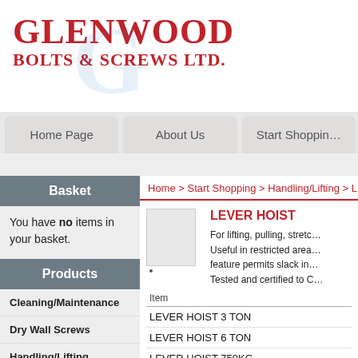[Figure (logo): Glenwood Bolts & Screws Ltd. logo with red serif text and light blue G watermark]
Home Page | About Us | Start Shopping
Home > Start Shopping > Handling/Lifting > LEVER H
Basket
You have no items in your basket.
Products
Cleaning/Maintenance
Dry Wall Screws
Handling/Lifting
LEVER HOIST
For lifting, pulling, stretching. Useful in restricted areas, feature permits slack in. Tested and certified to C
| Item |
| --- |
| LEVER HOIST 3 TON |
| LEVER HOIST 6 TON |
| LEVER HOIST 750KG |